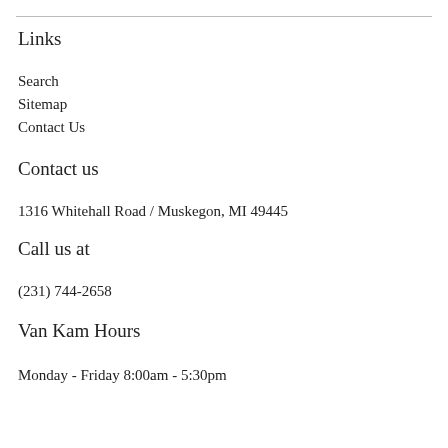Links
Search
Sitemap
Contact Us
Contact us
1316 Whitehall Road / Muskegon, MI 49445
Call us at
(231) 744-2658
Van Kam Hours
Monday - Friday 8:00am - 5:30pm